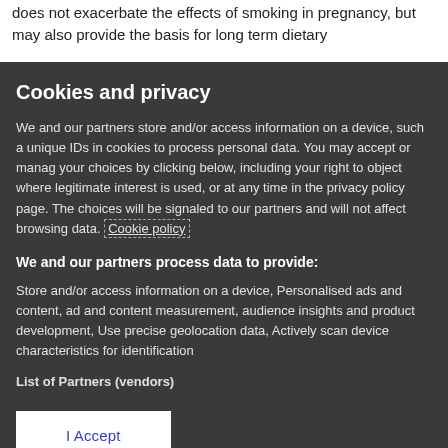does not exacerbate the effects of smoking in pregnancy, but may also provide the basis for long term dietary
Cookies and privacy
We and our partners store and/or access information on a device, such as unique IDs in cookies to process personal data. You may accept or manage your choices by clicking below, including your right to object where legitimate interest is used, or at any time in the privacy policy page. These choices will be signaled to our partners and will not affect browsing data. Cookie policy
We and our partners process data to provide:
Store and/or access information on a device, Personalised ads and content, ad and content measurement, audience insights and product development, Use precise geolocation data, Actively scan device characteristics for identification
List of Partners (vendors)
I Accept